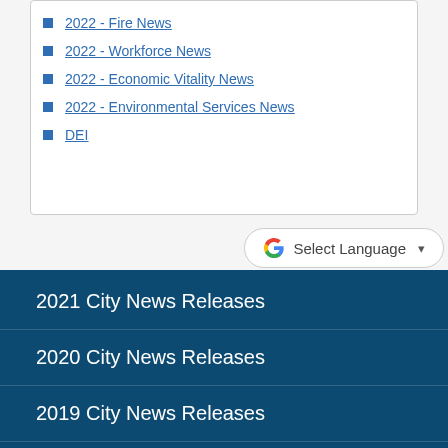2022 - Fire News
2022 - Workforce News
2022 - Economic Vitality News
2022 - Environmental Services News
DEI
Select Language
2021 City News Releases
2020 City News Releases
2019 City News Releases
2018 City News Releases
2017 City News Releases
2016 City News Releases